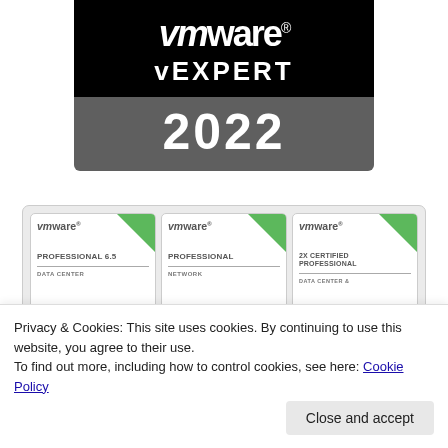[Figure (logo): VMware vEXPERT 2022 badge. Black top section with VMware logo and 'vEXPERT' text in white. Dark grey bottom section with '2022' in large white digits.]
[Figure (illustration): Three VMware certification badge cards side by side: 'Professional 6.5 Data Center', 'Professional Network', and '2X Certified Professional Data Center &...' Each has vmware logo, green triangle in top-right corner.]
Privacy & Cookies: This site uses cookies. By continuing to use this website, you agree to their use.
To find out more, including how to control cookies, see here: Cookie Policy
Close and accept